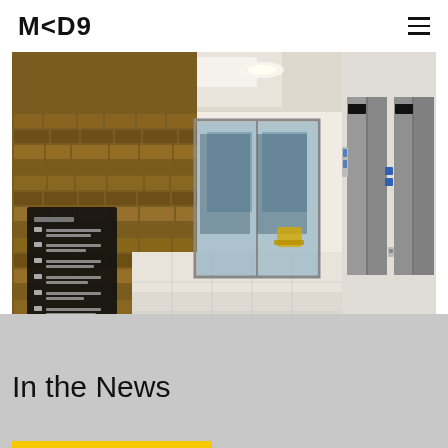MKDA
[Figure (photo): Interior lobby photo showing a textured wooden block wall on the left with a directory sign, white tiled floor, glass door entrance in the back, and two elevator doors on the right side with blue buttons.]
In the News